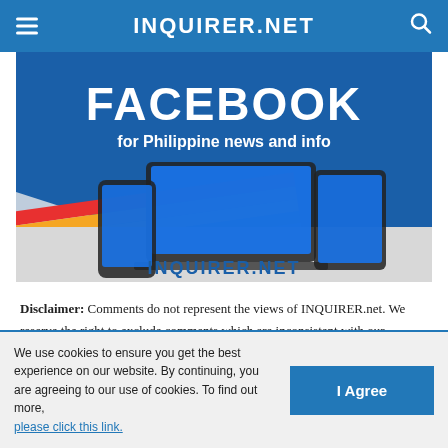INQUIRER.NET
[Figure (illustration): INQUIRER.NET Facebook promotional banner showing laptop, tablet, and mobile devices with text 'FACEBOOK for Philippine news and info' and 'INQUIRER.NET']
Disclaimer: Comments do not represent the views of INQUIRER.net. We reserve the right to exclude comments which are inconsistent with our editorial standards. FULL DISCLAIMER
We use cookies to ensure you get the best experience on our website. By continuing, you are agreeing to our use of cookies. To find out more, please click this link.